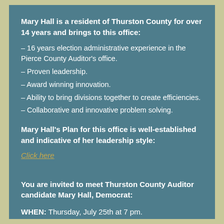Mary Hall is a resident of Thurston County for over 14 years and brings to this office:
– 16 years election administrative experience in the Pierce County Auditor's office.
– Proven leadership.
– Award winning innovation.
– Ability to bring divisions together to create efficiencies.
– Collaborative and innovative problem solving.
Mary Hall's Plan for this office is well-established and indicative of her leadership style:
Click here
You are invited to meet Thurston County Auditor candidate Mary Hall, Democrat:
WHEN: Thursday, July 25th at 7 pm.